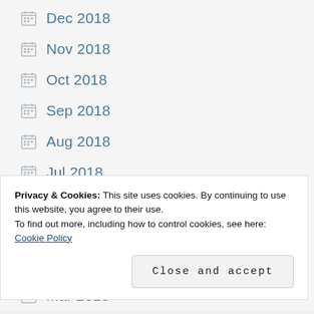Dec 2018
Nov 2018
Oct 2018
Sep 2018
Aug 2018
Jul 2018
Jun 2018
May 2018
Apr 2018
Mar 2018
Privacy & Cookies: This site uses cookies. By continuing to use this website, you agree to their use.
To find out more, including how to control cookies, see here: Cookie Policy
Close and accept